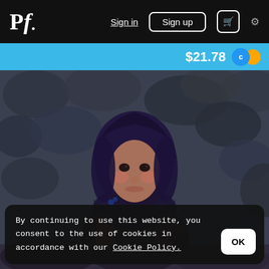Pf. | Sign in | Sign up | Cart | Settings
$21.78
[Figure (photo): Portrait of a young child wearing a dark purple headscarf and layered clothing, standing in front of a stone wall. The child has dark eyes and rosy cheeks.]
By continuing to use this website, you consent to the use of cookies in accordance with our Cookie Policy.